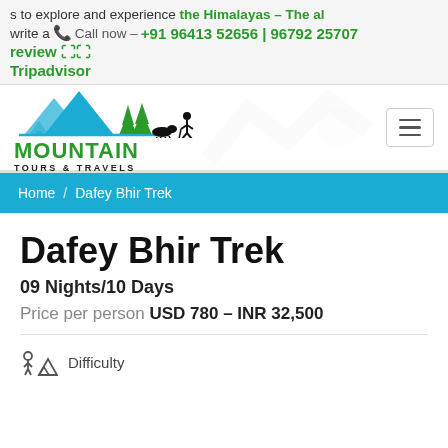s to explore and experience the Himalayas – The al write a  Call now – +91 96413 52656 | 96792 25707 review  Tripadvisor
[Figure (logo): Mountain Tours & Travels logo with mountain, trees, yak and trekker illustration in blue and green]
Home / Dafey Bhir Trek
Dafey Bhir Trek
09 Nights/10 Days
Price per person USD 780 – INR 32,500
Difficulty